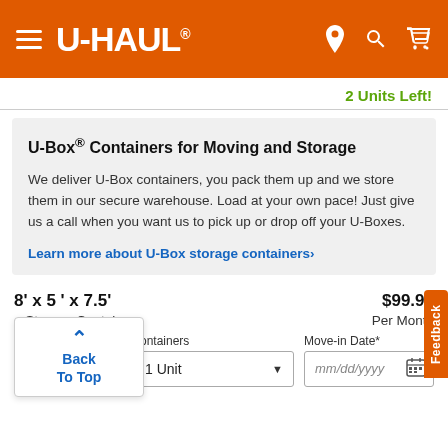U-HAUL
2 Units Left!
U-Box® Containers for Moving and Storage
We deliver U-Box containers, you pack them up and we store them in our secure warehouse. Load at your own pace! Just give us a call when you want us to pick up or drop off your U-Boxes.
Learn more about U-Box storage containers›
8' x 5 ' x 7.5'
$99.95
e Storage Container
Per Month
Back To Top
containers
Move-in Date*
1 Unit
mm/dd/yyyy